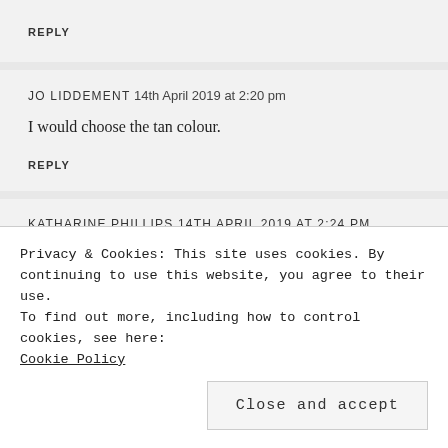REPLY
JO LIDDEMENT 14th April 2019 at 2:20 pm
I would choose the tan colour.
REPLY
KATHARINE PHILLIPS 14th April 2019 at 2:24 pm
Privacy & Cookies: This site uses cookies. By continuing to use this website, you agree to their use.
To find out more, including how to control cookies, see here: Cookie Policy
Close and accept